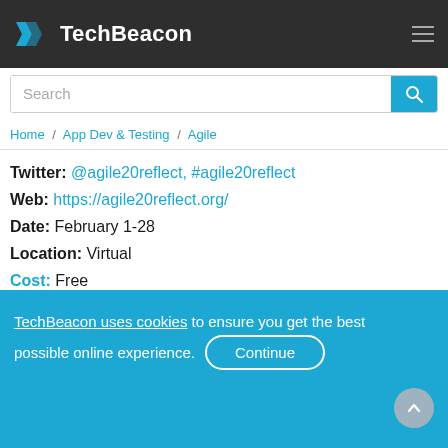TechBeacon
Home / App Dev & Testing / Agile
Twitter: @agile20reflect, #agile20reflect
Web: https://agile20reflect.org/
Date: February 1-28
Location: Virtual
Cost: Free
TechBeacon uses cookies to ensure you get the best possible online experience. Continue